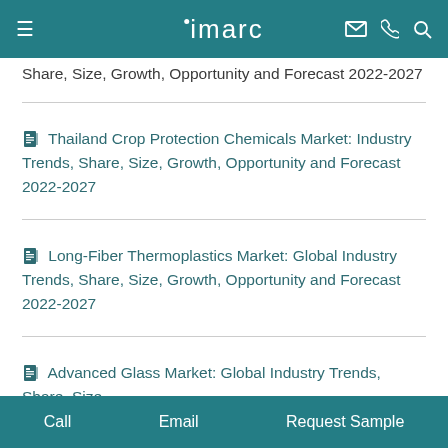imarc
Share, Size, Growth, Opportunity and Forecast 2022-2027
Thailand Crop Protection Chemicals Market: Industry Trends, Share, Size, Growth, Opportunity and Forecast 2022-2027
Long-Fiber Thermoplastics Market: Global Industry Trends, Share, Size, Growth, Opportunity and Forecast 2022-2027
Advanced Glass Market: Global Industry Trends, Share, Size,
Call   Email   Request Sample